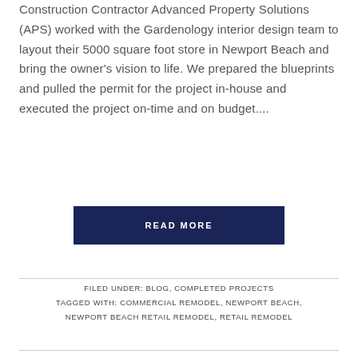Construction Contractor Advanced Property Solutions (APS) worked with the Gardenology interior design team to layout their 5000 square foot store in Newport Beach and bring the owner's vision to life. We prepared the blueprints and pulled the permit for the project in-house and executed the project on-time and on budget....
READ MORE
FILED UNDER: BLOG, COMPLETED PROJECTS TAGGED WITH: COMMERCIAL REMODEL, NEWPORT BEACH, NEWPORT BEACH RETAIL REMODEL, RETAIL REMODEL